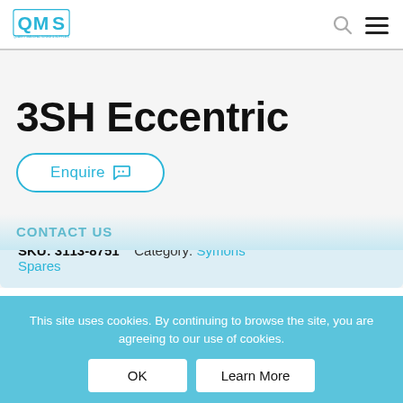QMS - Quarry Manufacturing & Supplies
3SH Eccentric
Enquire
SKU: 3113-8751  Category: Symons Spares
This site uses cookies. By continuing to browse the site, you are agreeing to our use of cookies.
OK  Learn More